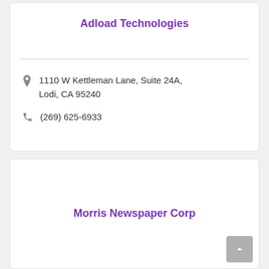Adload Technologies
1110 W Kettleman Lane, Suite 24A, Lodi, CA 95240
(269) 625-6933
Morris Newspaper Corp